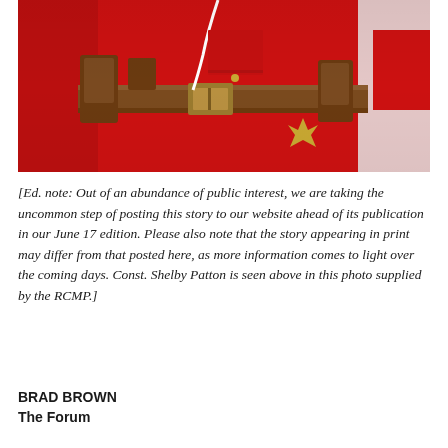[Figure (photo): Close-up photo of an RCMP officer in red serge uniform with brown leather belt, holster, and gold buttons. A white cord is visible. Partial Canadian flag visible at right edge.]
[Ed. note: Out of an abundance of public interest, we are taking the uncommon step of posting this story to our website ahead of its publication in our June 17 edition. Please also note that the story appearing in print may differ from that posted here, as more information comes to light over the coming days. Const. Shelby Patton is seen above in this photo supplied by the RCMP.]
BRAD BROWN
The Forum